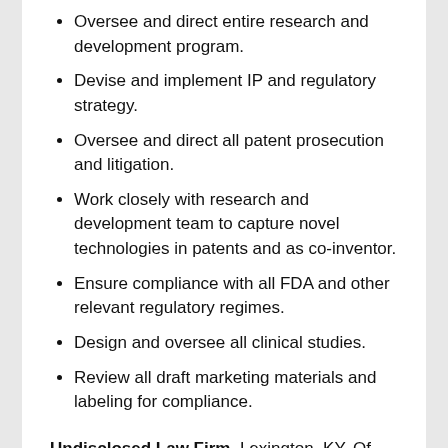Oversee and direct entire research and development program.
Devise and implement IP and regulatory strategy.
Oversee and direct all patent prosecution and litigation.
Work closely with research and development team to capture novel technologies in patents and as co-inventor.
Ensure compliance with all FDA and other relevant regulatory regimes.
Design and oversee all clinical studies.
Review all draft marketing materials and labeling for compliance.
Undisclosed Law Firm, Lexington, KY, Of Counsel, 2015 - Present
Intellectual property and business law.
Prepare and prosecute patent applications on novel chemical and other technologies.